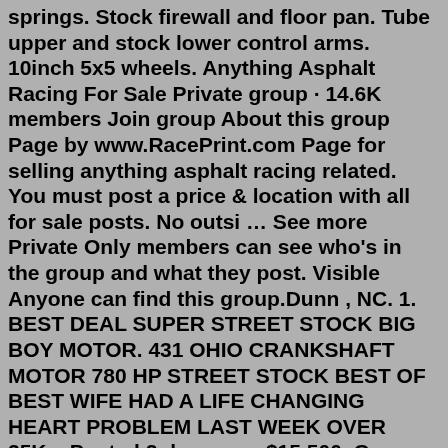springs. Stock firewall and floor pan. Tube upper and stock lower control arms. 10inch 5x5 wheels. Anything Asphalt Racing For Sale Private group · 14.6K members Join group About this group Page by www.RacePrint.com Page for selling anything asphalt racing related. You must post a price & location with all for sale posts. No outsi … See more Private Only members can see who's in the group and what they post. Visible Anyone can find this group.Dunn , NC. 1. BEST DEAL SUPER STREET STOCK BIG BOY MOTOR. 431 OHIO CRANKSHAFT MOTOR 780 HP STREET STOCK BEST OF BEST WIFE HAD A LIFE CHANGING HEART PROBLEM LAST WEEK OVER 25K... Posted 2 days ago. $15,500. Go-Karts. Lamborghini Replicas. Street Rods. Mini-Cup Cars. Other Products. These are a few examples of some of the different style asphalt modified bodies that we make. All come with aluminum panels and fiberglass hood and roof. We make many different fiberglass hoods to fit all kinds of different modified chassis. 10K Columbus pure stock race car. 6K